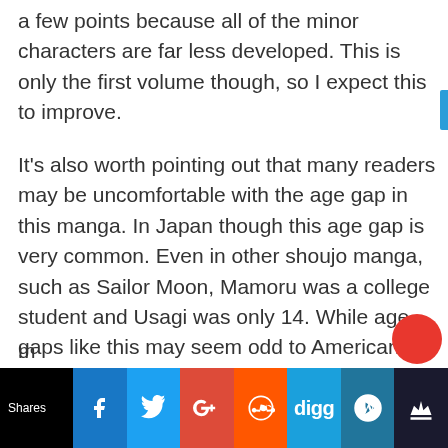a few points because all of the minor characters are far less developed. This is only the first volume though, so I expect this to improve.
It's also worth pointing out that many readers may be uncomfortable with the age gap in this manga. In Japan though this age gap is very common. Even in other shoujo manga, such as Sailor Moon, Mamoru was a college student and Usagi was only 14. While age gaps like this may seem odd to American readers, it is important to understand these cultural differences.
Shares | Facebook | Twitter | Google+ | Reddit | Digg | WordPress | Crown